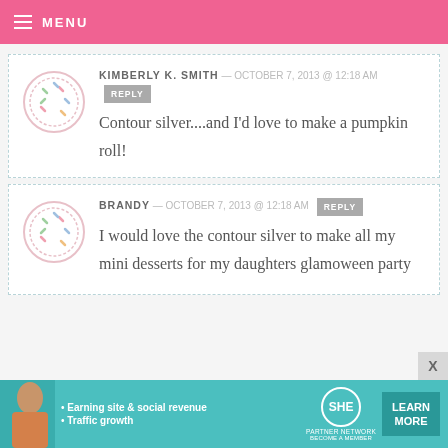MENU
KIMBERLY K. SMITH — OCTOBER 7, 2013 @ 12:18 AM REPLY
Contour silver....and I'd love to make a pumpkin roll!
BRANDY — OCTOBER 7, 2013 @ 12:18 AM REPLY
I would love the contour silver to make all my mini desserts for my daughters glamoween party
[Figure (infographic): SHE Partner Network advertisement banner with woman, bullet points about Earning site & social revenue and Traffic growth, SHE logo, and Learn More button]